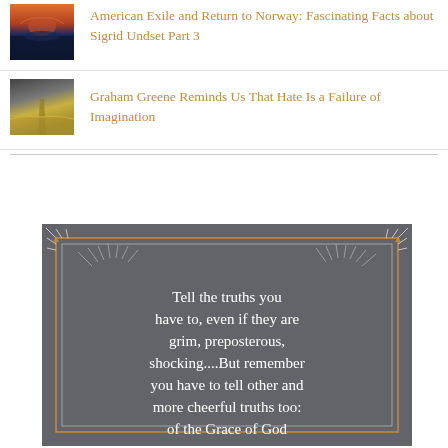[Figure (photo): Thumbnail image of a Norwegian landscape with water reflection at sunset]
American Exile and Return to Norway: Fascinating Facts about Sigrid Undset Part 3
[Figure (photo): Thumbnail image of a stormy sky over a wheat field with a dirt road]
Graham Greene Reminds Us That Hate Is a Failure of Imagination
[Figure (infographic): Dark grey decorative quote box with ornamental border reading: Tell the truths you have to, even if they are grim, preposterous, shocking....But remember you have to tell other and more cheerful truths too: of the Grace of God]